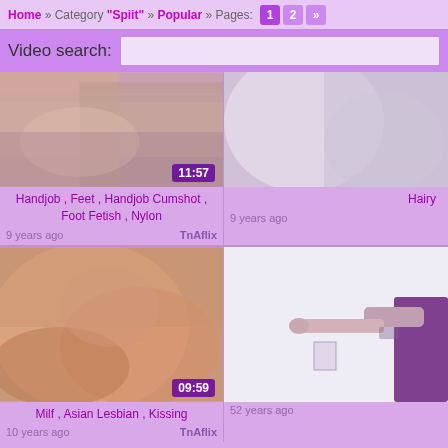Home » Category "Spiit" » Popular » Pages: 1 2 »
Video search:
[Figure (screenshot): Video thumbnail showing feet/nylon content with duration 11:57]
[Figure (screenshot): Video thumbnail showing hairy content, right side partial]
Handjob , Feet , Handjob Cumshot , Foot Fetish , Nylon
Hairy
9 years ago    TnAflix    9 years ago
[Figure (screenshot): Video thumbnail showing Milf Asian Lesbian Kissing content with duration 09:59]
[Figure (screenshot): Video thumbnail showing person near wall, right side partial]
Milf , Asian Lesbian , Kissing
10 years ago    TnAflix    52 years ago